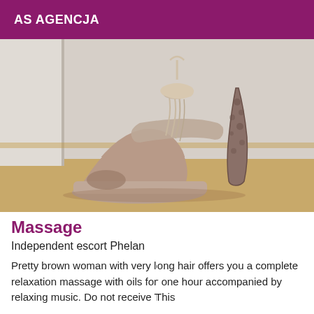AS AGENCJA
[Figure (photo): Close-up photo of a woman's foot wearing a high-heeled peep-toe platform shoe in beige/nude color with decorative tassel and animal-print heel detail, on a wooden floor against a white wall.]
Massage
Independent escort Phelan
Pretty brown woman with very long hair offers you a complete relaxation massage with oils for one hour accompanied by relaxing music. Do not receive This